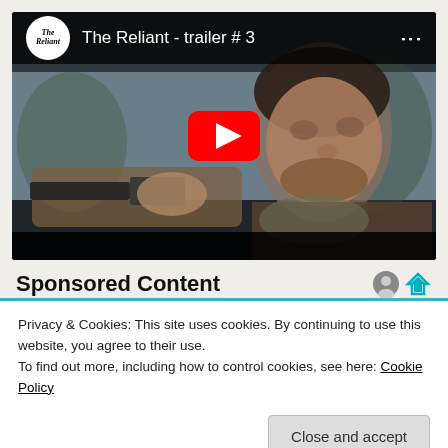[Figure (screenshot): YouTube video thumbnail showing a man pointing a gun toward the camera, title bar reads 'The Reliant - trailer # 3', with a red play button overlay]
Sponsored Content
Privacy & Cookies: This site uses cookies. By continuing to use this website, you agree to their use.
To find out more, including how to control cookies, see here: Cookie Policy
Close and accept